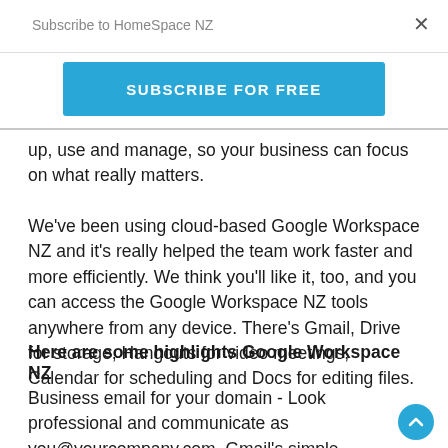Subscribe to HomeSpace NZ
SUBSCRIBE FOR FREE
up, use and manage, so your business can focus on what really matters.
We've been using cloud-based Google Workspace NZ and it's really helped the team work faster and more efficiently. We think you'll like it, too, and you can access the Google Workspace NZ tools anywhere from any device. There's Gmail, Drive for storage, Hangouts for video meetings, Calendar for scheduling and Docs for editing files.
Here are some highlights Google Workspace NZ
Business email for your domain - Look professional and communicate as you@yourcompany.com. Gmail's simple